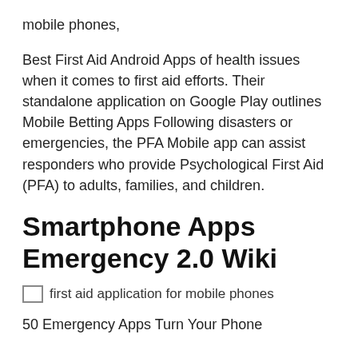mobile phones,
Best First Aid Android Apps of health issues when it comes to first aid efforts. Their standalone application on Google Play outlines Mobile Betting Apps Following disasters or emergencies, the PFA Mobile app can assist responders who provide Psychological First Aid (PFA) to adults, families, and children.
Smartphone Apps Emergency 2.0 Wiki
[Figure (photo): Broken image placeholder with alt text: first aid application for mobile phones]
50 Emergency Apps Turn Your Phone